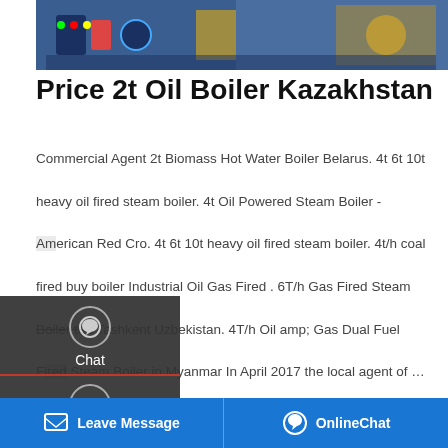[Figure (photo): Industrial boiler machinery photo, blue and yellow equipment in a factory/workshop setting]
Price 2t Oil Boiler Kazakhstan
Commercial Agent 2t Biomass Hot Water Boiler Belarus. 4t 6t 10t heavy oil fired steam boiler. 4t Oil Powered Steam Boiler - American Red Cro. 4t 6t 10t heavy oil fired steam boiler. 4t/h coal fired buy boiler Industrial Oil Gas Fired . 6T/h Gas Fired Steam Boiler the Tashkent Uzbekistan. 4T/h Oil amp; Gas Dual Fuel Fired Steam Boiler in Myanmar In April 2017 the local agent of …
[Figure (screenshot): Sidebar overlay with Chat, Email, and Contact buttons on dark background]
[Figure (screenshot): Get a Quote yellow button with speech bubble icon]
[Figure (screenshot): Scroll-up arrow button]
[Figure (photo): Save Stickers on WhatsApp banner with phone and emoji icons, gradient purple-pink background]
[Figure (photo): Industrial pipes/equipment photo, bottom right]
[Figure (screenshot): Bottom footer bar with Leave Message and OnlineChat buttons on blue background]